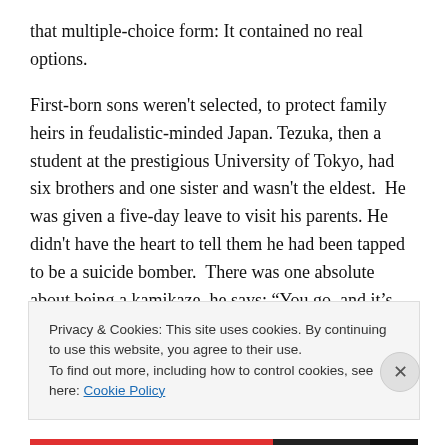that multiple-choice form: It contained no real options.
First-born sons weren't selected, to protect family heirs in feudalistic-minded Japan. Tezuka, then a student at the prestigious University of Tokyo, had six brothers and one sister and wasn't the eldest.  He was given a five-day leave to visit his parents. He didn't have the heart to tell them he had been tapped to be a suicide bomber.  There was one absolute about being a kamikaze, he says: “You go, and it’s over.”
He arrived back at camp. Tezuka had his...
Privacy & Cookies: This site uses cookies. By continuing to use this website, you agree to their use.
To find out more, including how to control cookies, see here: Cookie Policy